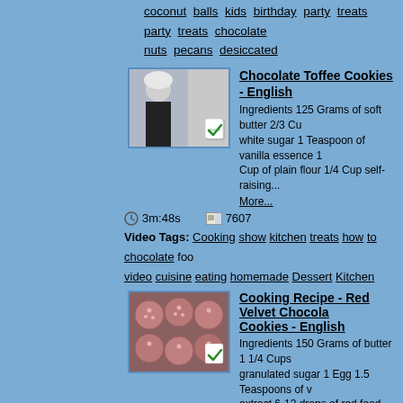coconut balls kids birthday party treats party treats chocolate nuts pecans desiccated
[Figure (screenshot): Thumbnail of man in chef hat in kitchen]
Chocolate Toffee Cookies - English
Ingredients 125 Grams of soft butter 2/3 Cup of white sugar 1 Teaspoon of vanilla essence 1 Cup of plain flour 1/4 Cup self-raising...
More...
3m:48s   7607
Video Tags: Cooking show kitchen treats how to chocolate food video cuisine eating homemade Dessert Kitchen
[Figure (photo): Thumbnail of red velvet cookie dough balls on baking tray]
Cooking Recipe - Red Velvet Chocolate Cookies - English
Ingredients 150 Grams of butter 1 1/4 Cups of granulated sugar 1 Egg 1.5 Teaspoons of vanilla extract 6-12 drops of red food colouring 2.5...
More...
4m:43s   8589
Video Tags: Cooking Cookie Choclate Recipe Food Cook
[Figure (photo): Thumbnail of fondant potatoes]
Fondant Potatoes - Crusty Potatoes with Butter and Stock - English